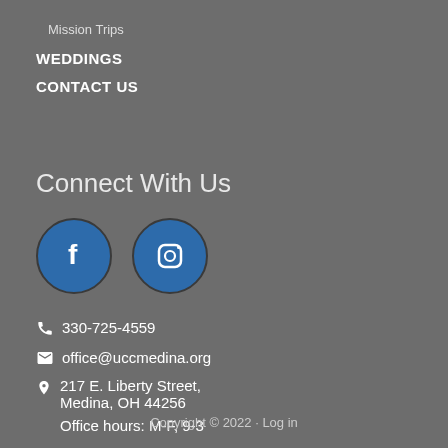Mission Trips
WEDDINGS
CONTACT US
Connect With Us
[Figure (illustration): Facebook and Instagram social media icon buttons (blue circles with f and camera icons)]
330-725-4559
office@uccmedina.org
217 E. Liberty Street, Medina, OH 44256
Office hours: M-F, 9-3
Copyright © 2022 · Log in